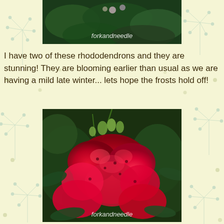[Figure (photo): Top photo of rhododendron plant with green leaves, partially visible, with 'forkandneedle' watermark]
I have two of these rhododendrons and they are stunning! They are blooming earlier than usual as we are having a mild late winter... lets hope the frosts hold off!
[Figure (photo): Close-up photo of bright red rhododendron flowers in full bloom with green leaves in background, with 'forkandneedle' watermark]